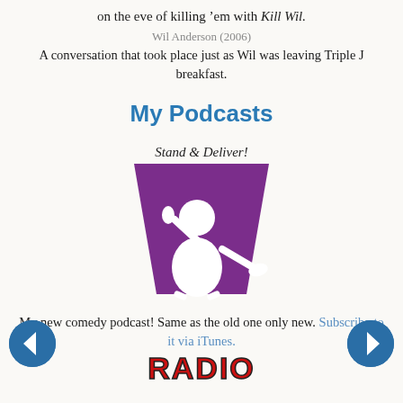on the eve of killing 'em with Kill Wil.
Wil Anderson (2006)
A conversation that took place just as Wil was leaving Triple J breakfast.
My Podcasts
[Figure (logo): Stand & Deliver! podcast logo — purple trapezoid shape with white silhouette of a comedian holding a microphone]
My new comedy podcast! Same as the old one only new. Subscribe to it via iTunes.
[Figure (logo): Radio logo in red and yellow text at bottom of page]
[Figure (other): Left navigation arrow button (blue circle with left arrow)]
[Figure (other): Right navigation arrow button (blue circle with right arrow)]